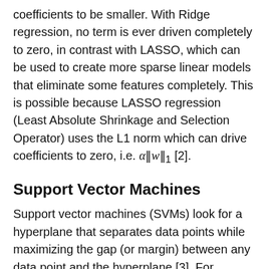coefficients to be smaller. With Ridge regression, no term is ever driven completely to zero, in contrast with LASSO, which can be used to create more sparse linear models that eliminate some features completely. This is possible because LASSO regression (Least Absolute Shrinkage and Selection Operator) uses the L1 norm which can drive coefficients to zero, i.e. α‖w‖₁ [2].
Support Vector Machines
Support vector machines (SVMs) look for a hyperplane that separates data points while maximizing the gap (or margin) between any data point and the hyperplane [3]. For example, given a dataset X and a set of binary labels, y, we want to find a hyperplane that separates the points X labeled y = 1 from those labeled y = 0 by the maximum available margin. We can enforce this separation as